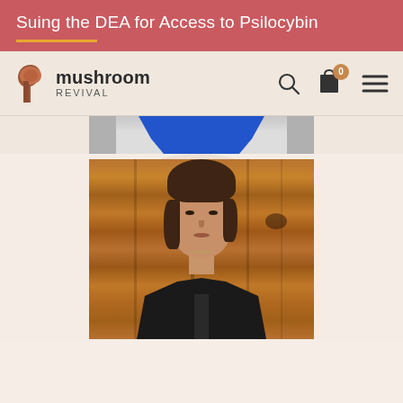Suing the DEA for Access to Psilocybin
[Figure (logo): Mushroom Revival logo with stylized 'R' mushroom icon and text 'mushroom REVIVAL']
[Figure (photo): Partial photo of a person in a blue top, cropped at shoulder level, in a gray-toned photo strip]
[Figure (photo): Portrait photo of a middle-aged woman with short brown hair wearing a dark blazer, seated against a warm wood-paneled background]